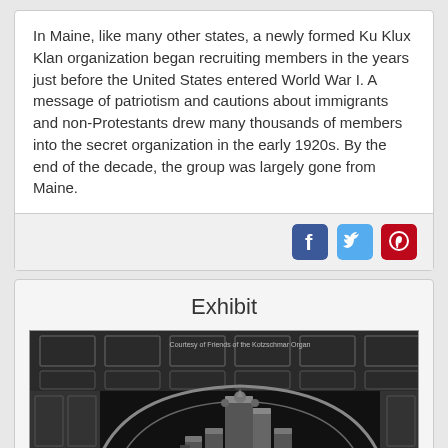In Maine, like many other states, a newly formed Ku Klux Klan organization began recruiting members in the years just before the United States entered World War I. A message of patriotism and cautions about immigrants and non-Protestants drew many thousands of members into the secret organization in the early 1920s. By the end of the decade, the group was largely gone from Maine.
[Figure (other): Social media sharing icons: Facebook (blue), Twitter (blue bird), Pinterest (red)]
Exhibit
[Figure (photo): Black and white photograph of an ornate church or hall interior showing a large pipe organ beneath an arched ceiling with decorative coffered panels. The image has a watermark: 'Courtesy of Friends of the Kotzschmar Organ']